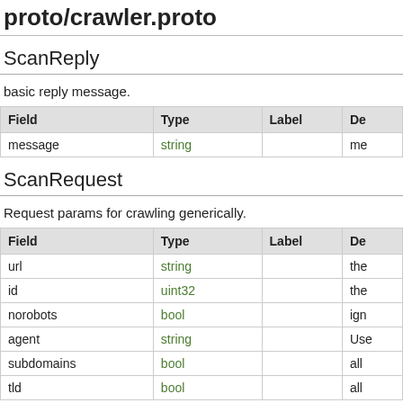proto/crawler.proto
ScanReply
basic reply message.
| Field | Type | Label | De |
| --- | --- | --- | --- |
| message | string |  | me |
ScanRequest
Request params for crawling generically.
| Field | Type | Label | De |
| --- | --- | --- | --- |
| url | string |  | the |
| id | uint32 |  | the |
| norobots | bool |  | ign |
| agent | string |  | Use |
| subdomains | bool |  | all |
| tld | bool |  | all |
Crawler